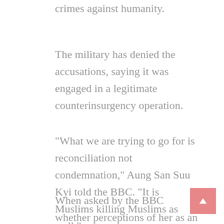crimes against humanity.
The military has denied the accusations, saying it was engaged in a legitimate counterinsurgency operation.
“What we are trying to go for is reconciliation not condemnation,” Aung San Suu Kyi told the BBC. “It is Muslims killing Muslims as well.”
When asked by the BBC whether perceptions of her as an amalgam of Indian independence hero Mahatma